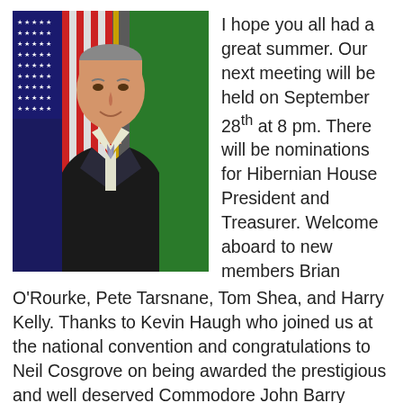[Figure (photo): Portrait photo of a middle-aged man in a dark suit and tie, standing in front of an American flag and a green flag background.]
I hope you all had a great summer. Our next meeting will be held on September 28th at 8 pm. There will be nominations for Hibernian House President and Treasurer. Welcome aboard to new members Brian O'Rourke, Pete Tarsnane, Tom Shea, and Harry Kelly. Thanks to Kevin Haugh who joined us at the national convention and congratulations to Neil Cosgrove on being awarded the prestigious and well deserved Commodore John Barry medal. Unfortunately, we had to deal with horrible weather for our Ceol Mor Bagpipe